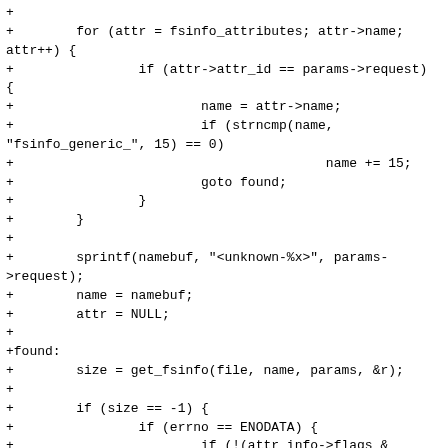+
+        for (attr = fsinfo_attributes; attr->name;
attr++) {
+                if (attr->attr_id == params->request) {
+                        name = attr->name;
+                        if (strncmp(name,
"fsinfo_generic_", 15) == 0)
+                                        name += 15;
+                        goto found;
+                }
+        }
+
+        sprintf(namebuf, "<unknown-%x>", params-
>request);
+        name = namebuf;
+        attr = NULL;
+
+found:
+        size = get_fsinfo(file, name, params, &r);
+
+        if (size == -1) {
+                if (errno == ENODATA) {
+                        if (!(attr_info->flags &
(FSINFO_FLAGS_N | FSINFO_FLAGS_NM) &&
+                                params->Nth == 0 && params-
>Mth == 0)
+                                        bad_value("Unexpected
ENODATA",
+                                        params, attr,
attr_info, r, size);